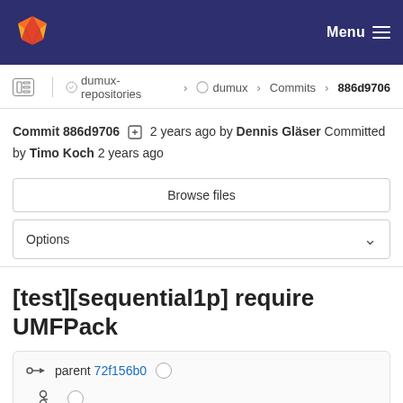GitLab navigation bar with logo and Menu
dumux-repositories › dumux › Commits › 886d9706
Commit 886d9706  2 years ago by Dennis Gläser Committed by Timo Koch 2 years ago
Browse files
Options
[test][sequential1p] require UMFPack
parent 72f156b0